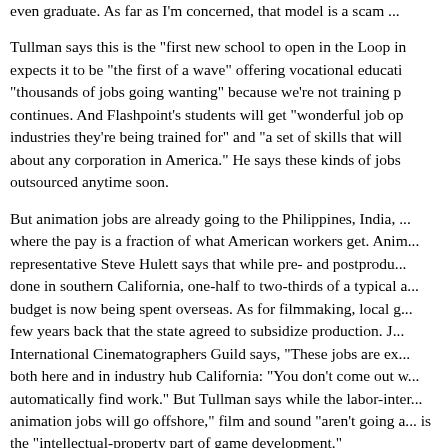even graduate. As far as I'm concerned, that model is a scam ...
Tullman says this is the "first new school to open in the Loop in ..." expects it to be "the first of a wave" offering vocational education ... "thousands of jobs going wanting" because we're not training p... continues. And Flashpoint's students will get "wonderful job op... industries they're being trained for" and "a set of skills that will ... about any corporation in America." He says these kinds of jobs ... outsourced anytime soon.
But animation jobs are already going to the Philippines, India, ... where the pay is a fraction of what American workers get. Anim... representative Steve Hulett says that while pre- and postprodu... done in southern California, one-half to two-thirds of a typical a... budget is now being spent overseas. As for filmmaking, local g... few years back that the state agreed to subsidize production. J... International Cinematographers Guild says, "These jobs are ex... both here and in industry hub California: "You don't come out w... automatically find work." But Tullman says while the labor-inter... animation jobs will go offshore," film and sound "aren't going a... is the "intellectual-property part of game development."
Tullman says he wrote the catchy Flashpoint ads himself, and ... I've had" with the project. It'll be a good thing if the one that cla... Get Another Job" is right.